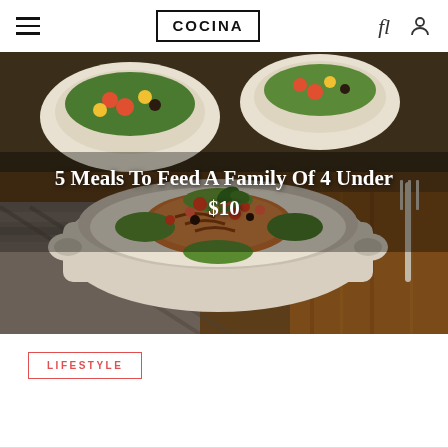COCINA
[Figure (photo): A white casserole dish containing grilled chicken topped with fresh salsa of tomatoes, corn, black beans, and lettuce, surrounded by bowls of food and a fork on a dark rustic background. Overlaid with title text '5 Meals To Feed A Family Of 4 Under $10'.]
5 Meals To Feed A Family Of 4 Under $10
LIFESTYLE